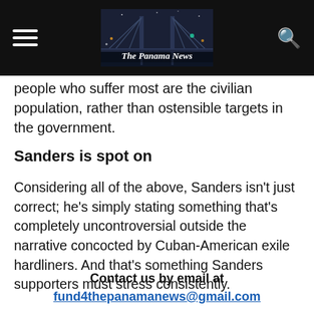The Panama News
people who suffer most are the civilian population, rather than ostensible targets in the government.
Sanders is spot on
Considering all of the above, Sanders isn't just correct; he's simply stating something that's completely uncontroversial outside the narrative concocted by Cuban-American exile hardliners. And that's something Sanders supporters must stress consistently.
Contact us by email at
fund4thepanamanews@gmail.com